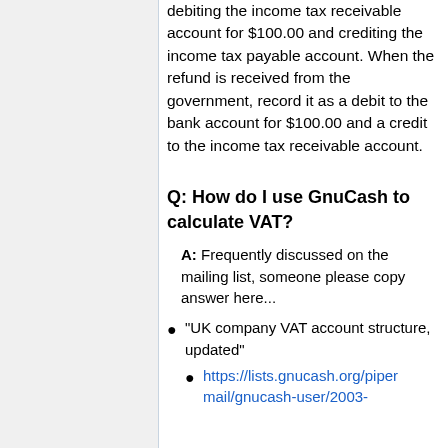debiting the income tax receivable account for $100.00 and crediting the income tax payable account. When the refund is received from the government, record it as a debit to the bank account for $100.00 and a credit to the income tax receivable account.
Q: How do I use GnuCash to calculate VAT?
A: Frequently discussed on the mailing list, someone please copy answer here...
"UK company VAT account structure, updated"
https://lists.gnucash.org/pipermail/gnucash-user/2003-